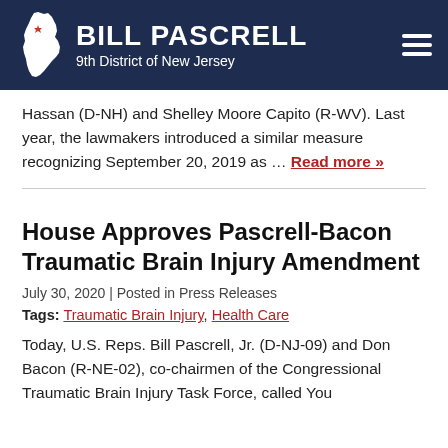BILL PASCRELL – 9th District of New Jersey
Hassan (D-NH) and Shelley Moore Capito (R-WV). Last year, the lawmakers introduced a similar measure recognizing September 20, 2019 as … Read more »
House Approves Pascrell-Bacon Traumatic Brain Injury Amendment
July 30, 2020 | Posted in Press Releases
Tags: Traumatic Brain Injury, Health Care
Today, U.S. Reps. Bill Pascrell, Jr. (D-NJ-09) and Don Bacon (R-NE-02), co-chairmen of the Congressional Traumatic Brain Injury Task Force, called You...